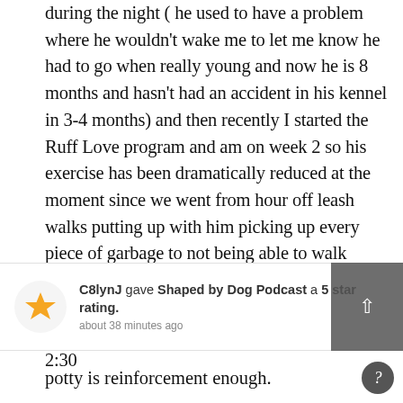during the night ( he used to have a problem where he wouldn't wake me to let me know he had to go when really young and now he is 8 months and hasn't had an accident in his kennel in 3-4 months) and then recently I started the Ruff Love program and am on week 2 so his exercise has been dramatically reduced at the moment since we went from hour off leash walks putting up with him picking up every piece of garbage to not being able to walk because he pulls on leash so I am having to build up that confidence. Anyways this past week he has gotten up anytime between 12:30-2:30
C8lynJ gave Shaped by Dog Podcast a 5 star rating. about 38 minutes ago
s like no ming : and going potty is reinforcement enough.